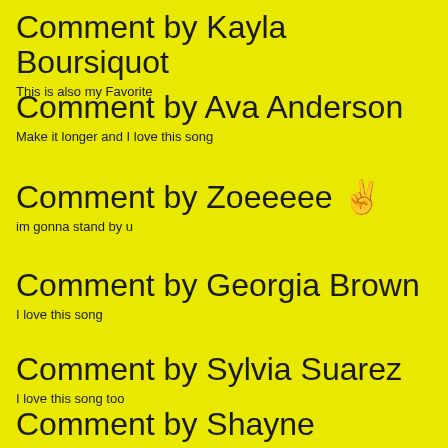Comment by Kayla Boursiquot
This is also my Favorite
Comment by Ava Anderson
Make it longer and I love this song
Comment by Zoeeeee ✌
im gonna stand by u
Comment by Georgia Brown
I love this song
Comment by Sylvia Suarez
I love this song too
Comment by Shayne
It's so nice!